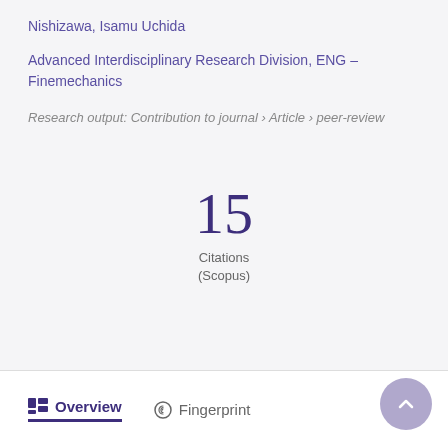Nishizawa, Isamu Uchida
Advanced Interdisciplinary Research Division, ENG – Finemechanics
Research output: Contribution to journal › Article › peer-review
15 Citations (Scopus)
Overview
Fingerprint